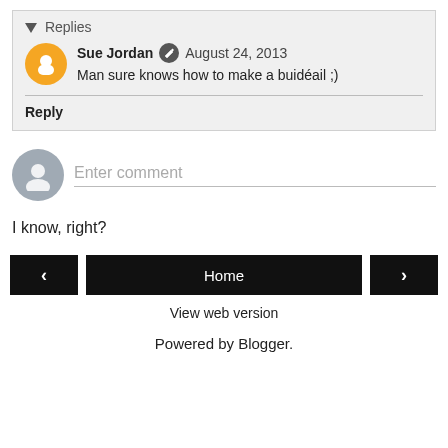▾ Replies
Sue Jordan  August 24, 2013
Man sure knows how to make a buidéail ;)
Reply
Enter comment
I know, right?
‹   Home   ›
View web version
Powered by Blogger.